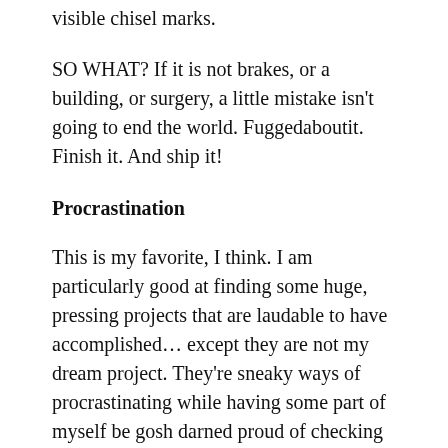visible chisel marks.
SO WHAT? If it is not brakes, or a building, or surgery, a little mistake isn't going to end the world. Fuggedaboutit. Finish it. And ship it!
Procrastination
This is my favorite, I think. I am particularly good at finding some huge, pressing projects that are laudable to have accomplished… except they are not my dream project. They're sneaky ways of procrastinating while having some part of myself be gosh darned proud of checking them off my lists.
I am not the floor, and there...